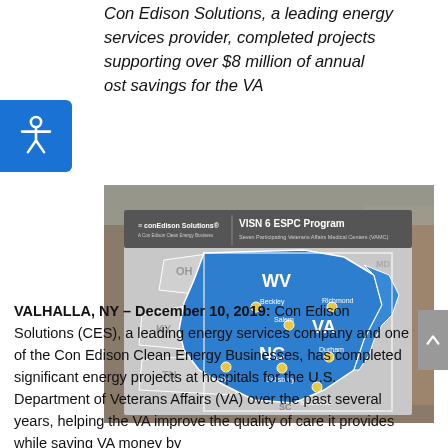Con Edison Solutions, a leading energy services provider, completed projects supporting over $8 million of annual cost savings for the VA
[Figure (map): VISN 6 ESPC Program map showing seven participating Veterans Affairs Medical Centers (VAMC) across WV, VA, NC states with locations marked: Beckley, Richmond, Salem, Asheville, Salisbury, Durham, Fayetteville. ConEdison Solutions logo in upper left corner.]
VALHALLA, NY – December 10, 2019: Con Edison Solutions (CES), a leading energy services company and one of the Con Edison Clean Energy Businesses, has completed significant energy projects at hospitals for the U.S. Department of Veterans Affairs (VA) over the past several years, helping the VA improve the quality of care it provides while saving VA money by